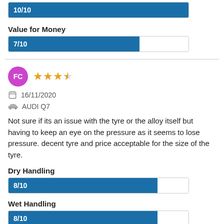[Figure (bar-chart): 10/10 rating bar (top partial)]
Value for Money
[Figure (bar-chart): Value for Money]
FC  ★★★½  16/11/2020  AUDI Q7
Not sure if its an issue with the tyre or the alloy itself but having to keep an eye on the pressure as it seems to lose pressure. decent tyre and price acceptable for the size of the tyre.
Dry Handling
[Figure (bar-chart): Dry Handling]
Wet Handling
[Figure (bar-chart): Wet Handling]
Comfort Noise
[Figure (bar-chart): Comfort Noise]